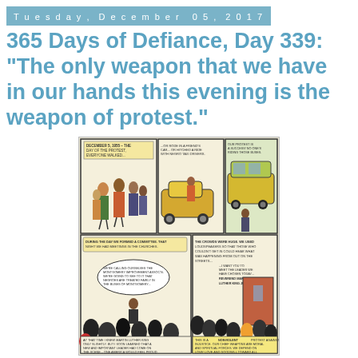Tuesday, December 05, 2017
365 Days of Defiance, Day 339: "The only weapon that we have in our hands this evening is the weapon of protest."
[Figure (illustration): A vintage comic book page depicting the Montgomery Bus Boycott of December 5, 1955. Multiple panels show African Americans walking and carpooling, a near-empty bus, a community meeting in a church where the Montgomery Improvement Association is being formed, and a speech by Reverend Martin Luther King Jr. Text in panels references the boycott as a nonviolent protest against injustice.]